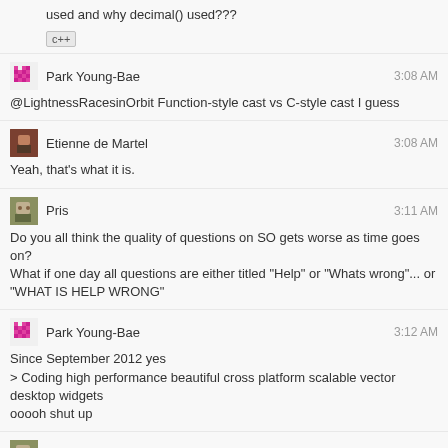used and why decimal() used???
c++
Park Young-Bae  3:08 AM
@LightnessRacesinOrbit Function-style cast vs C-style cast I guess
Etienne de Martel  3:08 AM
Yeah, that's what it is.
Pris  3:11 AM
Do you all think the quality of questions on SO gets worse as time goes on?
What if one day all questions are either titled "Help" or "Whats wrong"... or "WHAT IS HELP WRONG"
Park Young-Bae  3:12 AM
Since September 2012 yes
> Coding high performance beautiful cross platform scalable vector desktop widgets
ooooh shut up
Pris  3:14 AM
@ParkYoung-Bae That actually sounds kinda neat, where's it from
Park Young-Bae  3:16 AM
@Pris urgh
Lightness Races in Orbit  3:32 AM
so